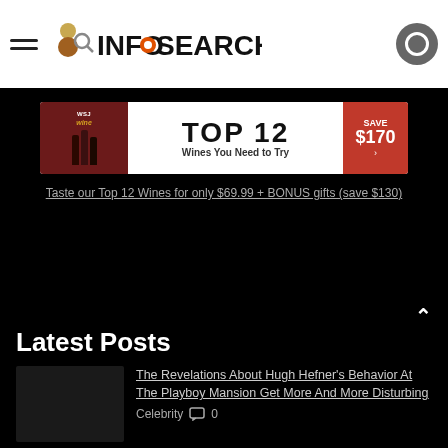INFOSEARCHED
[Figure (infographic): WSJ Wine advertisement banner showing TOP 12 Wines You Need to Try with SAVE $170 button]
Taste our Top 12 Wines for only $69.99 + BONUS gifts (save $130)
Latest Posts
The Revelations About Hugh Hefner's Behavior At The Playboy Mansion Get More And More Disturbing
Celebrity  0